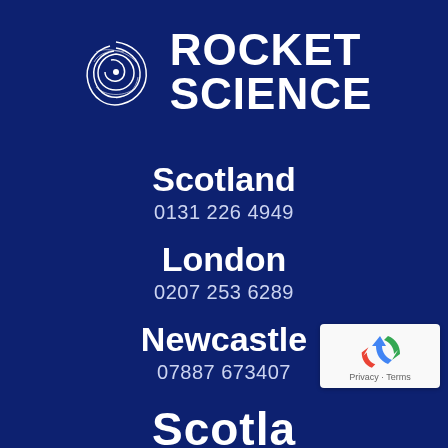[Figure (logo): Rocket Science logo with swirling galaxy/nebula icon on the left and bold white text ROCKET SCIENCE on the right, on a dark navy blue background]
Scotland
0131 226 4949
London
0207 253 6289
Newcastle
07887 673407
[Figure (logo): Google reCAPTCHA badge with recycling arrow icon and Privacy - Terms text]
Scotland